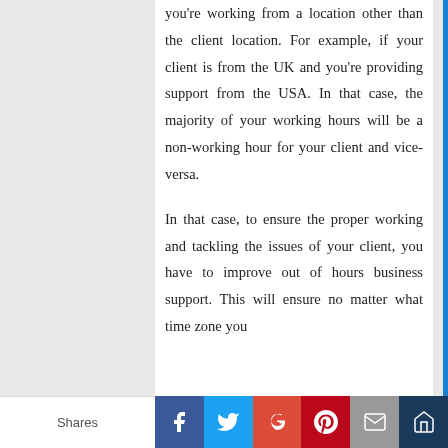you're working from a location other than the client location. For example, if your client is from the UK and you're providing support from the USA. In that case, the majority of your working hours will be a non-working hour for your client and vice-versa.

In that case, to ensure the proper working and tackling the issues of your client, you have to improve out of hours business support. This will ensure no matter what time zone you